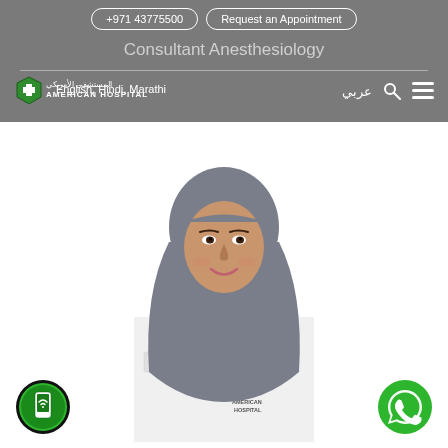+971 43775500 | Request an Appointment
Consultant Anesthesiology
English, Hindi, Marathi
[Figure (logo): American Hospital logo with Arabic text المستشفى الأمريكي and AMERICAN HOSPITAL]
عربي
[Figure (photo): Female doctor wearing grey hijab and white American Hospital lab coat, smiling, portrait photo against white background]
[Figure (other): Green circular mobile app button at bottom left]
[Figure (other): Green circular WhatsApp button at bottom right]